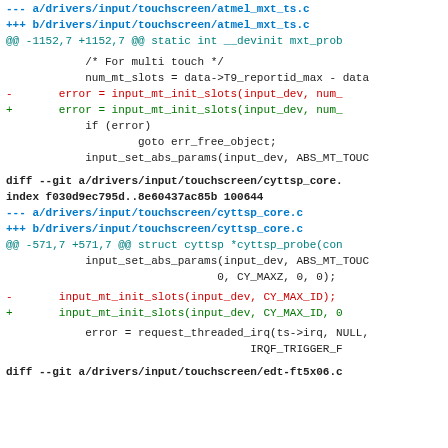--- a/drivers/input/touchscreen/atmel_mxt_ts.c
+++ b/drivers/input/touchscreen/atmel_mxt_ts.c
@@ -1152,7 +1152,7 @@ static int __devinit mxt_prob
/* For multi touch */
num_mt_slots = data->T9_reportid_max - data
-       error = input_mt_init_slots(input_dev, num_
+       error = input_mt_init_slots(input_dev, num_
if (error)
goto err_free_object;
input_set_abs_params(input_dev, ABS_MT_TOUC
diff --git a/drivers/input/touchscreen/cyttsp_core.
index f030d9ec795d..8e60437ac85b 100644
--- a/drivers/input/touchscreen/cyttsp_core.c
+++ b/drivers/input/touchscreen/cyttsp_core.c
@@ -571,7 +571,7 @@ struct cyttsp *cyttsp_probe(con
input_set_abs_params(input_dev, ABS_MT_TOUC
0, CY_MAXZ, 0, 0);
-       input_mt_init_slots(input_dev, CY_MAX_ID);
+       input_mt_init_slots(input_dev, CY_MAX_ID, 0
error = request_threaded_irq(ts->irq, NULL,
IRQF_TRIGGER_F
diff --git a/drivers/input/touchscreen/edt-ft5x06.c